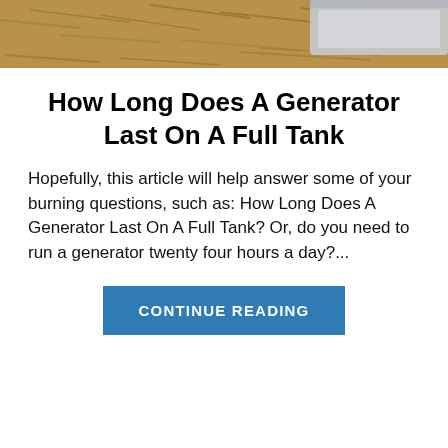[Figure (photo): Partial view of a generator on mulch/wood chip ground cover, cropped at the top of the page]
How Long Does A Generator Last On A Full Tank
Hopefully, this article will help answer some of your burning questions, such as: How Long Does A Generator Last On A Full Tank? Or, do you need to run a generator twenty four hours a day?...
CONTINUE READING